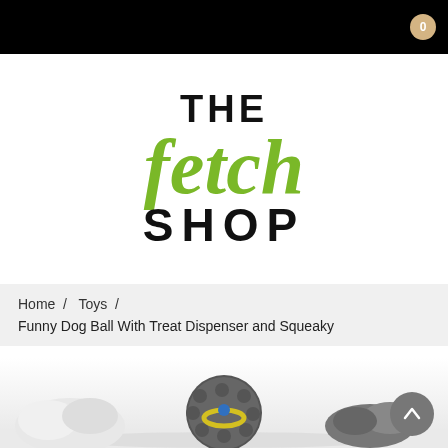The Fetch Shop — navigation bar
[Figure (logo): The Fetch Shop logo: 'THE' in bold black, 'fetch' in large green italic script, 'SHOP' in bold black capitals]
Home / Toys /
Funny Dog Ball With Treat Dispenser and Squeaky
[Figure (photo): Product photo of a funny dog ball toy with treat dispenser, green and grey coloring, shown at bottom of page]